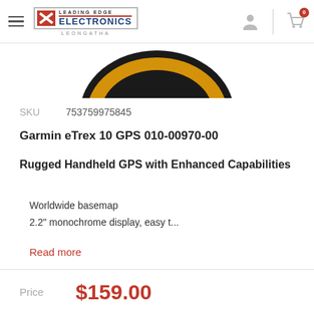Leading Edge Electronics Leongatha
[Figure (photo): Partial top view of a Garmin eTrex 10 GPS device showing the black and yellow casing]
SKU  753759975845
Garmin eTrex 10 GPS 010-00970-00
Rugged Handheld GPS with Enhanced Capabilities
Worldwide basemap
2.2" monochrome display, easy t...
Read more
Price  $159.00